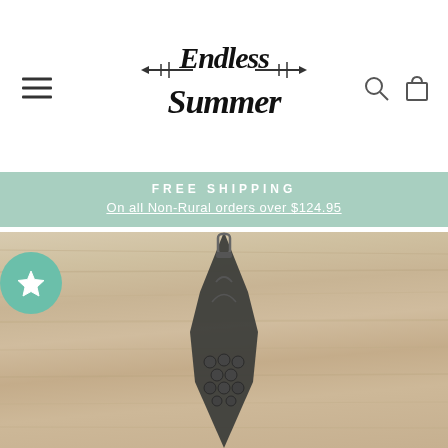[Figure (logo): Endless Summer brand logo with arrow motif and stylized script text]
FREE SHIPPING
On all Non-Rural orders over $124.95
[Figure (photo): Close-up photo of a dark metallic surfboard-shaped pendant or charm on a light wood grain surface. The charm has textured bumps and a bail/loop at the top for hanging.]